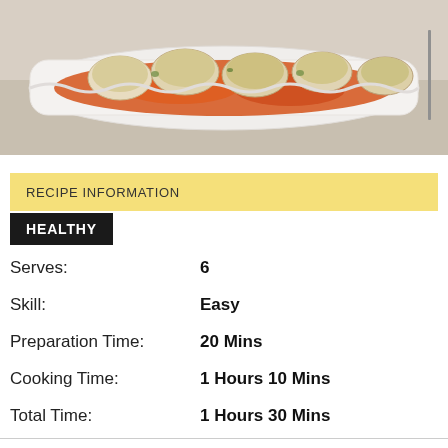[Figure (photo): Food photo showing breaded/baked items with red sauce on a white rectangular serving platter, on a light background]
RECIPE INFORMATION
HEALTHY
Serves: 6
Skill: Easy
Preparation Time: 20 Mins
Cooking Time: 1 Hours 10 Mins
Total Time: 1 Hours 30 Mins